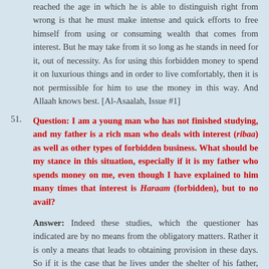reached the age in which he is able to distinguish right from wrong is that he must make intense and quick efforts to free himself from using or consuming wealth that comes from interest. But he may take from it so long as he stands in need for it, out of necessity. As for using this forbidden money to spend it on luxurious things and in order to live comfortably, then it is not permissible for him to use the money in this way. And Allaah knows best. [Al-Asaalah, Issue #1]
51. Question: I am a young man who has not finished studying, and my father is a rich man who deals with interest (ribaa) as well as other types of forbidden business. What should be my stance in this situation, especially if it is my father who spends money on me, even though I have explained to him many times that interest is Haraam (forbidden), but to no avail?
Answer: Indeed these studies, which the questioner has indicated are by no means from the obligatory matters. Rather it is only a means that leads to obtaining provision in these days. So if it is the case that he lives under the shelter of his father, and he knows for certain that his father deals with interest, then there is no harm in that and it...